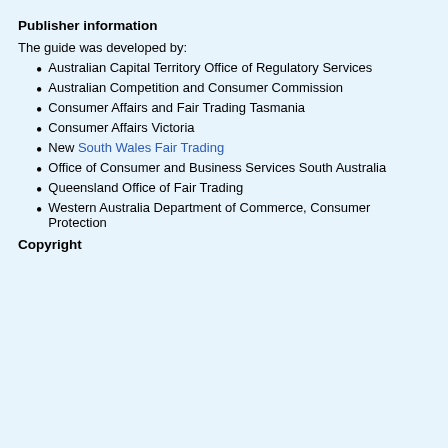Publisher information
The guide was developed by:
Australian Capital Territory Office of Regulatory Services
Australian Competition and Consumer Commission
Consumer Affairs and Fair Trading Tasmania
Consumer Affairs Victoria
New South Wales Fair Trading
Office of Consumer and Business Services South Australia
Queensland Office of Fair Trading
Western Australia Department of Commerce, Consumer Protection
Copyright